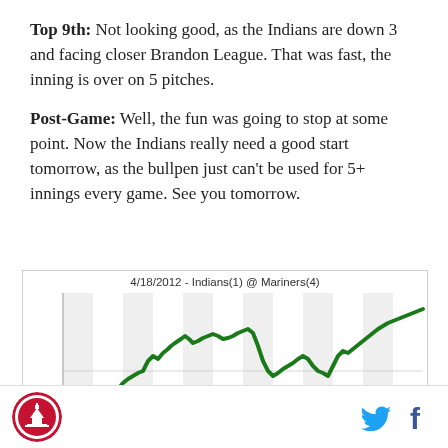Top 9th: Not looking good, as the Indians are down 3 and facing closer Brandon League. That was fast, the inning is over on 5 pitches.
Post-Game: Well, the fun was going to stop at some point. Now the Indians really need a good start tomorrow, as the bullpen just can't be used for 5+ innings every game. See you tomorrow.
[Figure (line-chart): Win probability chart showing a green line trend over the course of the game, starting low, rising through the middle innings, dipping, then climbing to the right end.]
Site logo and social media icons (Twitter, Facebook)